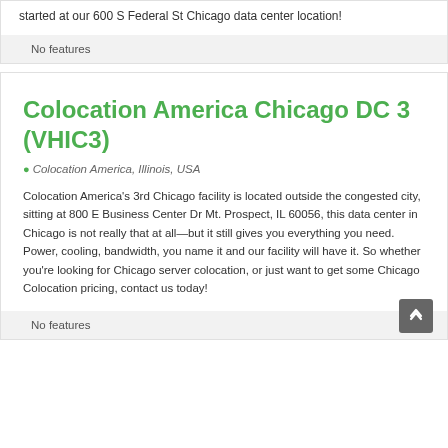started at our 600 S Federal St Chicago data center location!
No features
Colocation America Chicago DC 3 (VHIC3)
Colocation America, Illinois, USA
Colocation America's 3rd Chicago facility is located outside the congested city, sitting at 800 E Business Center Dr Mt. Prospect, IL 60056, this data center in Chicago is not really that at all—but it still gives you everything you need. Power, cooling, bandwidth, you name it and our facility will have it. So whether you're looking for Chicago server colocation, or just want to get some Chicago Colocation pricing, contact us today!
No features